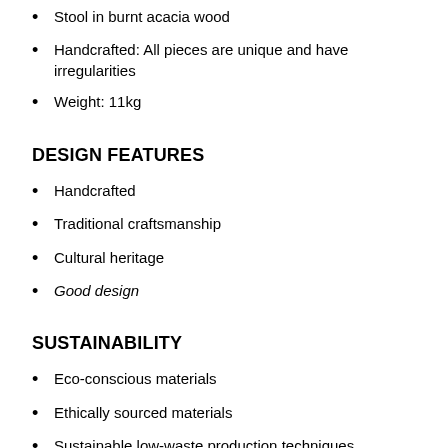Stool in burnt acacia wood
Handcrafted: All pieces are unique and have irregularities
Weight: 11kg
DESIGN FEATURES
Handcrafted
Traditional craftsmanship
Cultural heritage
Good design
SUSTAINABILITY
Eco-conscious materials
Ethically sourced materials
Sustainable low-waste production techniques